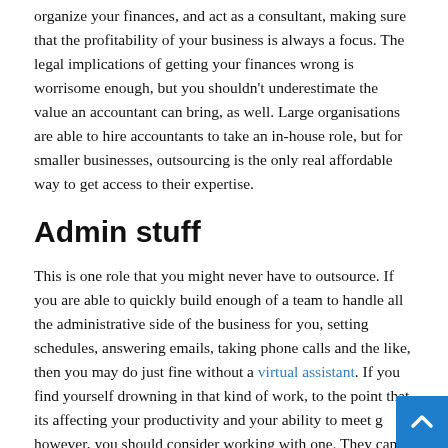organize your finances, and act as a consultant, making sure that the profitability of your business is always a focus. The legal implications of getting your finances wrong is worrisome enough, but you shouldn't underestimate the value an accountant can bring, as well. Large organisations are able to hire accountants to take an in-house role, but for smaller businesses, outsourcing is the only real affordable way to get access to their expertise.
Admin stuff
This is one role that you might never have to outsource. If you are able to quickly build enough of a team to handle all the administrative side of the business for you, setting schedules, answering emails, taking phone calls and the like, then you may do just fine without a virtual assistant. If you find yourself drowning in that kind of work, to the point that its affecting your productivity and your ability to meet g... however, you should consider working with one. They can